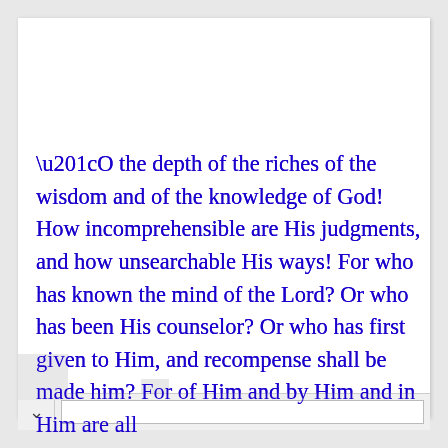“O the depth of the riches of the wisdom and of the knowledge of God! How incomprehensible are His judgments, and how unsearchable His ways! For who has known the mind of the Lord? Or who has been His counselor? Or who has first given to Him, and recompense shall be made him? For of Him and by Him and in Him are all